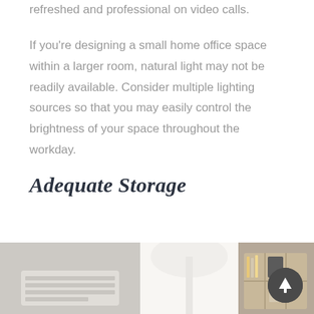refreshed and professional on video calls.
If you're designing a small home office space within a larger room, natural light may not be readily available. Consider multiple lighting sources so that you may easily control the brightness of your space throughout the workday.
Adequate Storage
[Figure (photo): Photo of a home office desk area showing a white keyboard on the left, a white lamp shade in the center, and a desk organizer with office supplies on the right.]